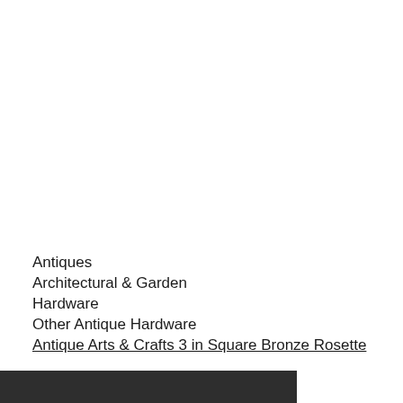Antiques
Architectural & Garden
Hardware
Other Antique Hardware
Antique Arts & Crafts 3 in Square Bronze Rosette